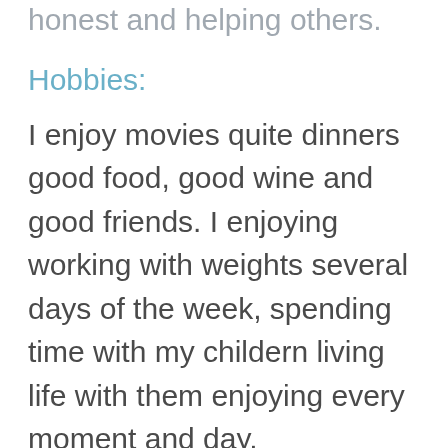honest and helping others.
Hobbies:
I enjoy movies quite dinners good food, good wine and good friends. I enjoying working with weights several days of the week, spending time with my childern living life with them enjoying every moment and day.
Looking for:
We all hope we can find the perfect soul mate I hope that is true. First they special someone would be my very best friend.